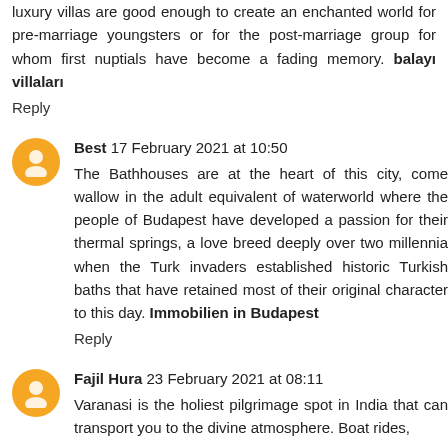luxury villas are good enough to create an enchanted world for pre-marriage youngsters or for the post-marriage group for whom first nuptials have become a fading memory. balayı villaları
Reply
Best 17 February 2021 at 10:50
The Bathhouses are at the heart of this city, come wallow in the adult equivalent of waterworld where the people of Budapest have developed a passion for their thermal springs, a love breed deeply over two millennia when the Turk invaders established historic Turkish baths that have retained most of their original character to this day. Immobilien in Budapest
Reply
Fajil Hura 23 February 2021 at 08:11
Varanasi is the holiest pilgrimage spot in India that can transport you to the divine atmosphere. Boat rides,